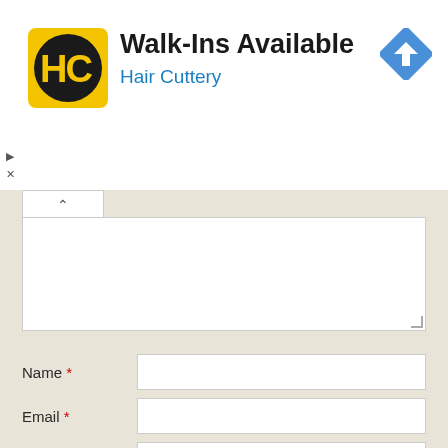[Figure (screenshot): Hair Cuttery advertisement banner: yellow square logo with HC monogram in black circle, text 'Walk-Ins Available' in bold black, 'Hair Cuttery' in blue, blue diamond navigation arrow icon on right, small play and close controls on left edge]
[Figure (screenshot): Comment form with textarea (partially visible with up-caret tab), Name field with red asterisk, Email field with red asterisk, Website field, 'Notify me of new posts by email.' checkbox, and orange 'Post Comment' button]
Name *
Email *
Website
Notify me of new posts by email.
Post Comment